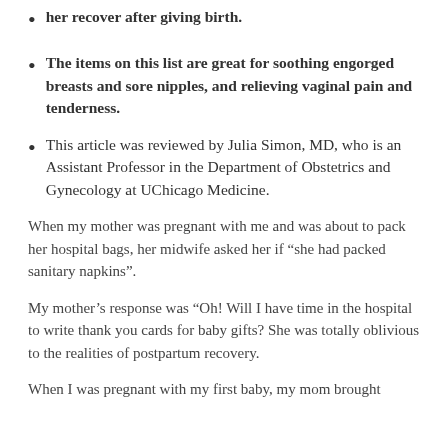could give her was a basket of products to help her recover after giving birth.
The items on this list are great for soothing engorged breasts and sore nipples, and relieving vaginal pain and tenderness.
This article was reviewed by Julia Simon, MD, who is an Assistant Professor in the Department of Obstetrics and Gynecology at UChicago Medicine.
When my mother was pregnant with me and was about to pack her hospital bags, her midwife asked her if “she had packed sanitary napkins”.
My mother’s response was “Oh! Will I have time in the hospital to write thank you cards for baby gifts? She was totally oblivious to the realities of postpartum recovery.
When I was pregnant with my first baby, my mom brought